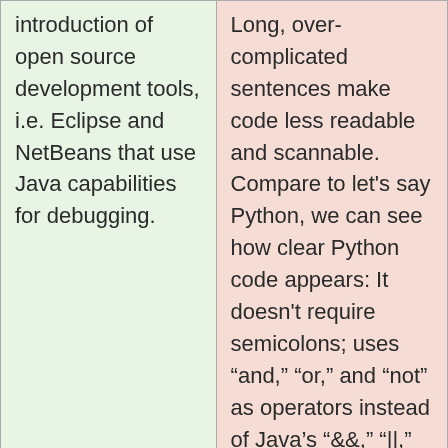| introduction of open source development tools, i.e. Eclipse and NetBeans that use Java capabilities for debugging. | Long, over-complicated sentences make code less readable and scannable. Compare to let's say Python, we can see how clear Python code appears: It doesn't require semicolons; uses “and,” “or,” and “not” as operators instead of Java’s “&&,” “||” and “!”; and generally has fewer bells and whistles such |